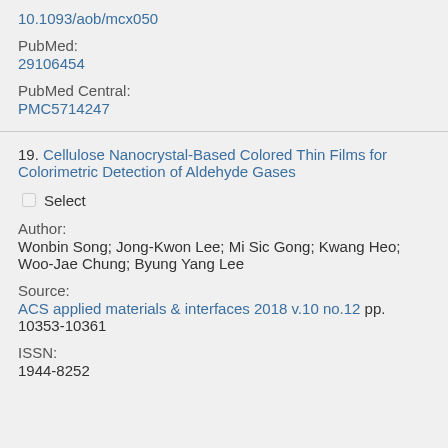10.1093/aob/mcx050
PubMed:
29106454
PubMed Central:
PMC5714247
19. Cellulose Nanocrystal-Based Colored Thin Films for Colorimetric Detection of Aldehyde Gases
Select
Author:
Wonbin Song; Jong-Kwon Lee; Mi Sic Gong; Kwang Heo; Woo-Jae Chung; Byung Yang Lee
Source:
ACS applied materials & interfaces 2018 v.10 no.12 pp. 10353-10361
ISSN:
1944-8252